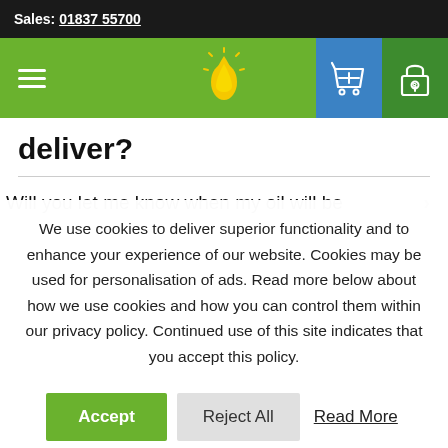Sales: 01837 55700
[Figure (screenshot): Green navigation bar with hamburger menu icon, yellow flame logo, blue shopping cart icon button, and dark green padlock icon button]
deliver?
Will you let me know when my oil will be
We use cookies to deliver superior functionality and to enhance your experience of our website. Cookies may be used for personalisation of ads. Read more below about how we use cookies and how you can control them within our privacy policy. Continued use of this site indicates that you accept this policy.
Accept  Reject All  Read More